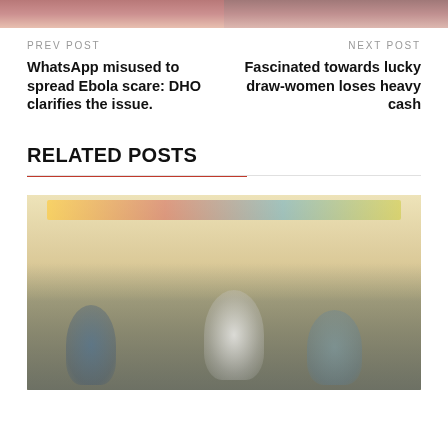[Figure (photo): Two cropped photo thumbnails at the top of the page]
PREV POST
NEXT POST
WhatsApp misused to spread Ebola scare: DHO clarifies the issue.
Fascinated towards lucky draw-women loses heavy cash
RELATED POSTS
[Figure (photo): A group of people standing together, some wearing face masks, outdoors near market stalls with colorful signage]